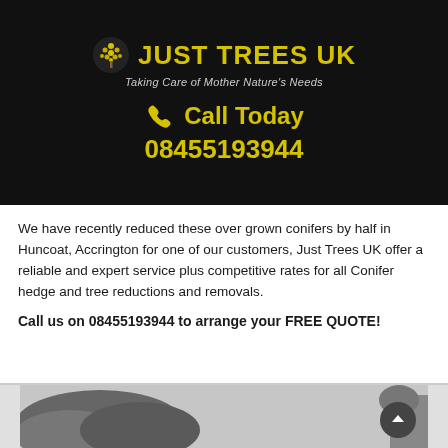[Figure (logo): Just Trees UK logo with tree icon, yellow text 'JUST TREES UK' and tagline 'Taking Care of Mother Nature's Needs' on black background]
Call Today 08455193944
We have recently reduced these over grown conifers by half in Huncoat, Accrington for one of our customers, Just Trees UK offer a reliable and expert service plus competitive rates for all Conifer hedge and tree reductions and removals.
Call us on 08455193944 to arrange your FREE QUOTE!
[Figure (photo): Black and white photo of conifer trees, partially visible at bottom of page]